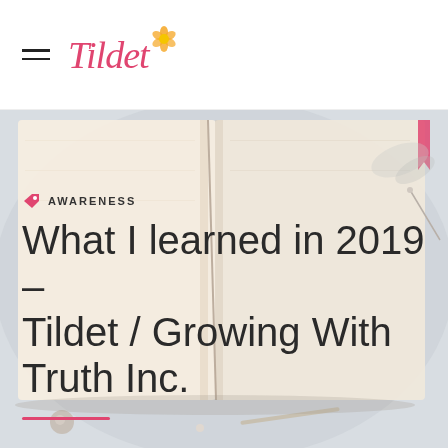Tildet
[Figure (photo): Open notebook/journal with cream-colored pages, lying on a light gray surface with decorative items around it]
AWARENESS
What I learned in 2019 - Tildet / Growing With Truth Inc.